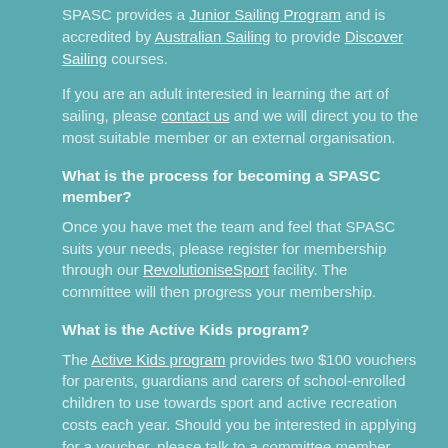SPASC provides a Junior Sailing Program and is accredited by Australian Sailing to provide Discover Sailing courses.
If you are an adult interested in learning the art of sailing, please contact us and we will direct you to the most suitable member or an external organisation.
What is the process for becoming a SPASC member?
Once you have met the team and feel that SPASC suits your needs, please register for membership through our RevolutioniseSport facility. The committee will then progress your membership.
What is the Active Kids program?
The Active Kids program provides two $100 vouchers for parents, guardians and carers of school-enrolled children to use towards sport and active recreation costs each year. Should you be interested in applying for a voucher, please talk to a committee member who will facilitate the process.
How do I find the SPASC clubhouse?